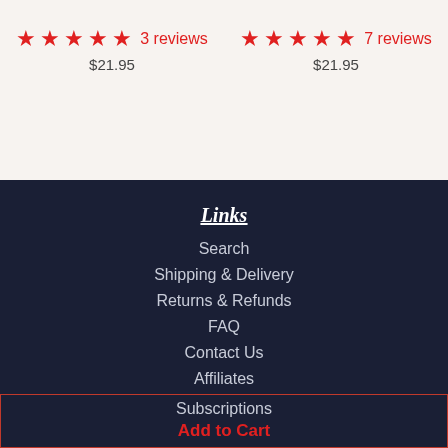★★★★★ 3 reviews $21.95
★★★★★ 7 reviews $21.95
Links
Search
Shipping & Delivery
Returns & Refunds
FAQ
Contact Us
Affiliates
Wholesale
Subscriptions
Add to Cart